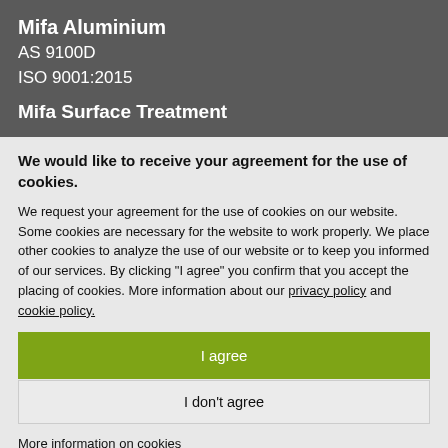Mifa Aluminium
AS 9100D
ISO 9001:2015
Mifa Surface Treatment
We would like to receive your agreement for the use of cookies.
We request your agreement for the use of cookies on our website. Some cookies are necessary for the website to work properly. We place other cookies to analyze the use of our website or to keep you informed of our services. By clicking "I agree" you confirm that you accept the placing of cookies. More information about our privacy policy and cookie policy.
I agree
I don't agree
More information on cookies